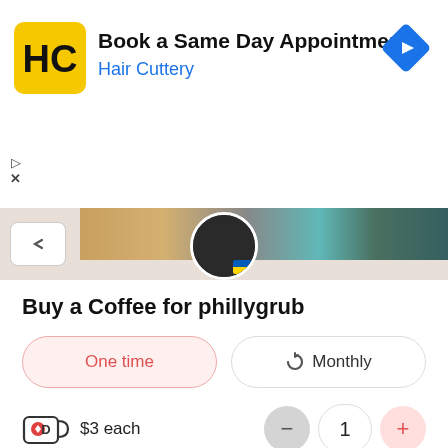[Figure (screenshot): Hair Cuttery advertisement banner with yellow/black logo, title 'Book a Same Day Appointment', subtitle 'Hair Cuttery' in blue, and a blue navigation diamond icon on the right]
[Figure (photo): Partial profile image strip showing a circular avatar with Ukrainian flag overlay and colorful background images]
Buy a Coffee for phillygrub
One time | Monthly toggle buttons
Coffee cup icon $3 each with quantity controls: minus, 1, plus
$ 3
Your name or nickname